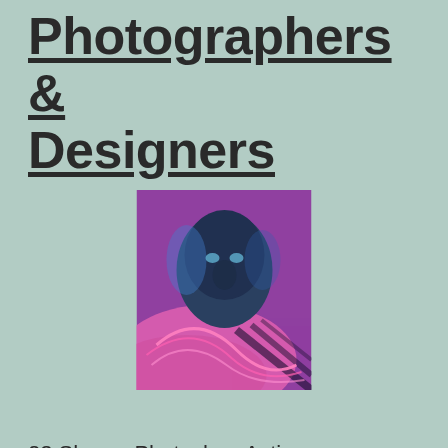Photographers & Designers
[Figure (photo): Portrait of a man with glowing neon pink and blue lighting effects, with abstract swirling colored streaks around him]
23 Shares Photoshop Action can transform your photos into Oil painting photo effect, newspaper effect, abstract art, glowing skin retouch, watercolor effect, comic and halftone dots effects with just one action effect. Mostly